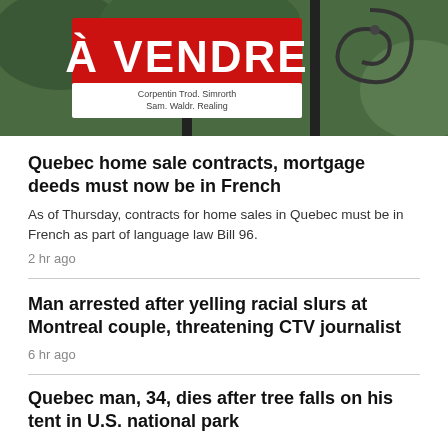[Figure (photo): A red 'À VENDRE' (For Sale) real estate sign in French, with a smaller white sign below showing agent/agency text, and decorative ironwork visible to the right, green foliage in the background.]
Quebec home sale contracts, mortgage deeds must now be in French
As of Thursday, contracts for home sales in Quebec must be in French as part of language law Bill 96.
2 hr ago
Man arrested after yelling racial slurs at Montreal couple, threatening CTV journalist
6 hr ago
Quebec man, 34, dies after tree falls on his tent in U.S. national park